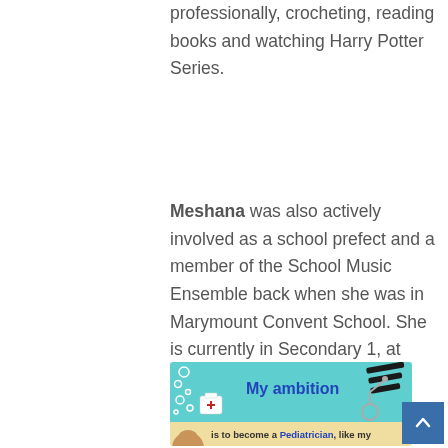professionally, crocheting, reading books and watching Harry Potter Series.
Meshana was also actively involved as a school prefect and a member of the School Music Ensemble back when she was in Marymount Convent School. She is currently in Secondary 1, at Raffles Girls' School and is a member of RGS Dance International.
[Figure (infographic): Teal and cream infographic banner reading 'My ambition is to become a Pediatrician, like my' with a medical bag icon, stethoscope decoration, bubbles, and a partial face at bottom left.]